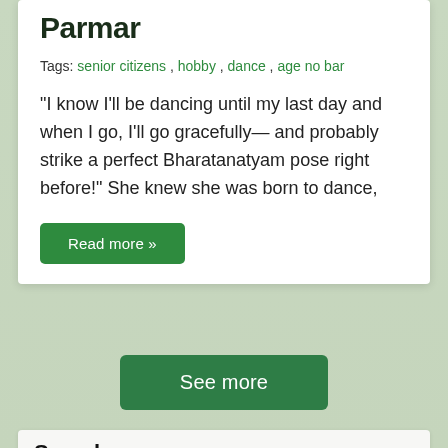Parmar
Tags: senior citizens , hobby , dance , age no bar
“I know I’ll be dancing until my last day and when I go, I’ll go gracefully— and probably strike a perfect Bharatanatyam pose right before!” She knew she was born to dance,
Read more »
See more
Search
Search posts here...